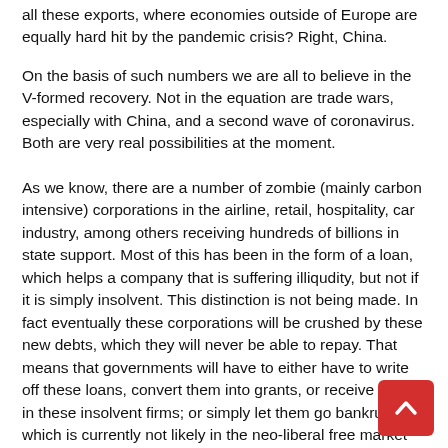all these exports, where economies outside of Europe are equally hard hit by the pandemic crisis? Right, China.
On the basis of such numbers we are all to believe in the V-formed recovery. Not in the equation are trade wars, especially with China, and a second wave of coronavirus. Both are very real possibilities at the moment.
As we know, there are a number of zombie (mainly carbon intensive) corporations in the airline, retail, hospitality, car industry, among others receiving hundreds of billions in state support. Most of this has been in the form of a loan, which helps a company that is suffering illiqudity, but not if it is simply insolvent. This distinction is not being made. In fact eventually these corporations will be crushed by these new debts, which they will never be able to repay. That means that governments will have to either have to write off these loans, convert them into grants, or receive shares in these insolvent firms; or simply let them go bankrupt, which is currently not likely in the neo-liberal free market economy.